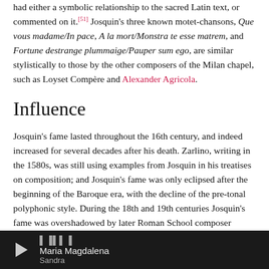had either a symbolic relationship to the sacred Latin text, or commented on it.[51] Josquin's three known motet-chansons, Que vous madame/In pace, A la mort/Monstra te esse matrem, and Fortune destrange plummaige/Pauper sum ego, are similar stylistically to those by the other composers of the Milan chapel, such as Loyset Compère and Alexander Agricola.
Influence
Josquin's fame lasted throughout the 16th century, and indeed increased for several decades after his death. Zarlino, writing in the 1580s, was still using examples from Josquin in his treatises on composition; and Josquin's fame was only eclipsed after the beginning of the Baroque era, with the decline of the pre-tonal polyphonic style. During the 18th and 19th centuries Josquin's fame was overshadowed by later Roman School composer Palestrina, whose music was seen as
Maria Magdalena – Sandra